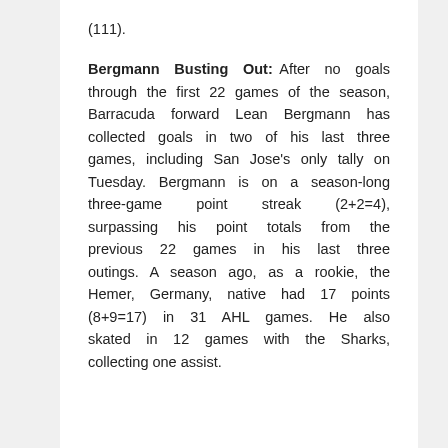(111).
Bergmann Busting Out: After no goals through the first 22 games of the season, Barracuda forward Lean Bergmann has collected goals in two of his last three games, including San Jose's only tally on Tuesday. Bergmann is on a season-long three-game point streak (2+2=4), surpassing his point totals from the previous 22 games in his last three outings. A season ago, as a rookie, the Hemer, Germany, native had 17 points (8+9=17) in 31 AHL games. He also skated in 12 games with the Sharks, collecting one assist.